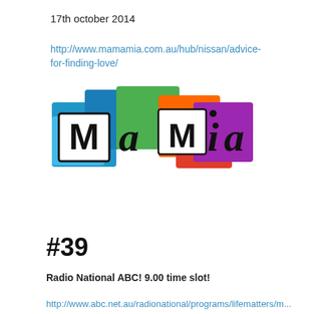17th october 2014
http://www.mamamia.com.au/hub/nissan/advice-for-finding-love/
[Figure (logo): Mamamia logo with colorful overlapping squares in blue, teal, green, orange, red, purple, with bold text 'MaMaMia']
#39
Radio National ABC! 9.00 time slot!
http://www.abc.net.au/radionational/programs/lifematters/m...